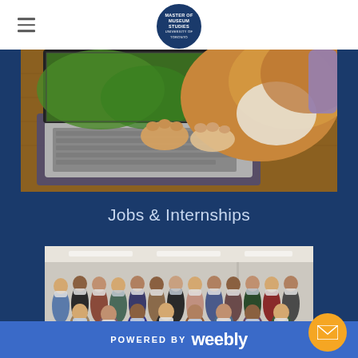Museum Studies (logo) with hamburger menu
[Figure (photo): A dog resting its paws on a laptop keyboard on a wooden desk, screen showing a green nature scene]
Jobs & Internships
[Figure (photo): Group photo of approximately 25 students wearing masks standing and sitting in a classroom or meeting room]
POWERED BY weebly